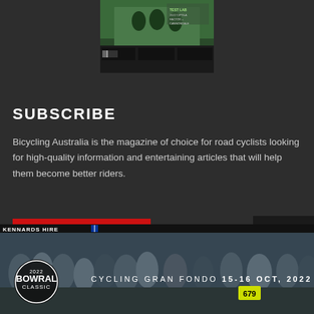[Figure (photo): Magazine cover of Bicycling Australia showing cyclists riding]
SUBSCRIBE
Bicycling Australia is the magazine of choice for road cyclists looking for high-quality information and entertaining articles that will help them become better riders.
SUBSCRIBE
× Close
[Figure (photo): 2022 Bowral Classic banner showing cycling event crowd with text: BOWRAL CLASSIC 2022 CYCLING GRAN FONDO 15-16 OCT, 2022]